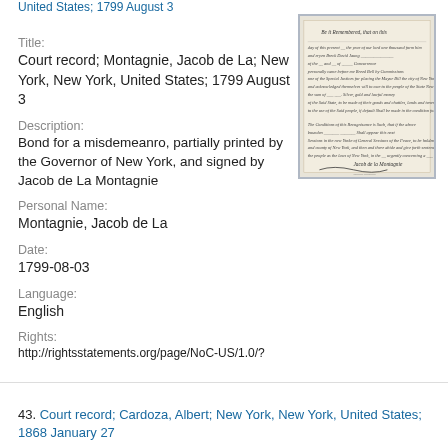United States; 1799 August 3
Title:
Court record; Montagnie, Jacob de La; New York, New York, United States; 1799 August 3
Description:
Bond for a misdemeanro, partially printed by the Governor of New York, and signed by Jacob de La Montagnie
[Figure (photo): Scanned handwritten court bond document from 1799, beginning with 'Be it Remembered, that on this...' with cursive script and signatures at the bottom]
Personal Name:
Montagnie, Jacob de La
Date:
1799-08-03
Language:
English
Rights:
http://rightsstatements.org/page/NoC-US/1.0/?
43. Court record; Cardoza, Albert; New York, New York, United States; 1868 January 27